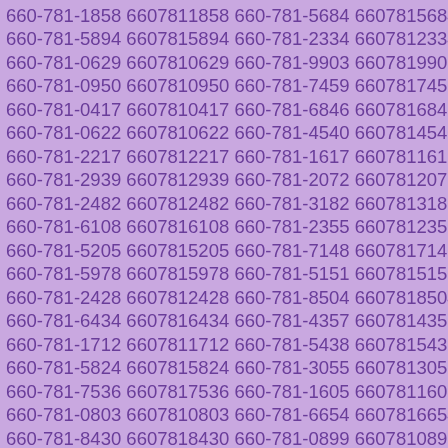660-781-1858 6607811858 660-781-5684 6607815684
660-781-5894 6607815894 660-781-2334 6607812334
660-781-0629 6607810629 660-781-9903 6607819903
660-781-0950 6607810950 660-781-7459 6607817459
660-781-0417 6607810417 660-781-6846 6607816846
660-781-0622 6607810622 660-781-4540 6607814540
660-781-2217 6607812217 660-781-1617 6607811617
660-781-2939 6607812939 660-781-2072 6607812072
660-781-2482 6607812482 660-781-3182 6607813182
660-781-6108 6607816108 660-781-2355 6607812355
660-781-5205 6607815205 660-781-7148 6607817148
660-781-5978 6607815978 660-781-5151 6607815151
660-781-2428 6607812428 660-781-8504 6607818504
660-781-6434 6607816434 660-781-4357 6607814357
660-781-1712 6607811712 660-781-5438 6607815438
660-781-5824 6607815824 660-781-3055 6607813055
660-781-7536 6607817536 660-781-1605 6607811605
660-781-0803 6607810803 660-781-6654 6607816654
660-781-8430 6607818430 660-781-0899 6607810899
660-781-4700 6607814700 660-781-4551 6607814551
660-781-7148 6607817148 660-781-4113 6607814...